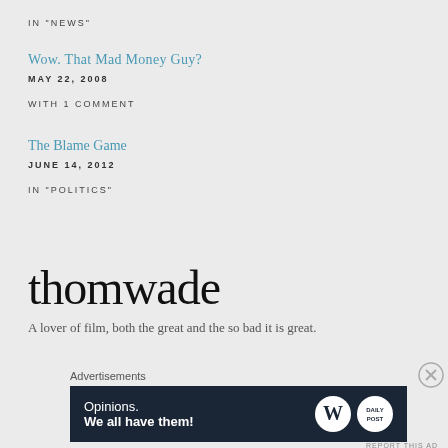IN "NEWS"
Wow. That Mad Money Guy?
MAY 22, 2008
WITH 1 COMMENT
The Blame Game
JUNE 14, 2012
IN "POLITICS"
thomwade
A lover of film, both the great and the so bad it is great.
Advertisements
[Figure (other): WordPress advertisement banner: dark navy background with text 'Opinions. We all have them!' and WordPress logo and Daily Post logo on the right side.]
REPORT THIS AD